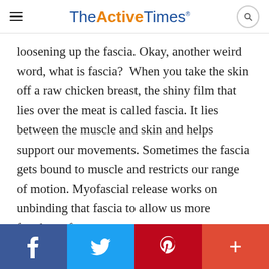TheActiveTimes
loosening up the fascia. Okay, another weird word, what is fascia?  When you take the skin off a raw chicken breast, the shiny film that lies over the meat is called fascia. It lies between the muscle and skin and helps support our movements. Sometimes the fascia gets bound to muscle and restricts our range of motion. Myofascial release works on unbinding that fascia to allow us more freedom of movement.
f  Twitter  P  +